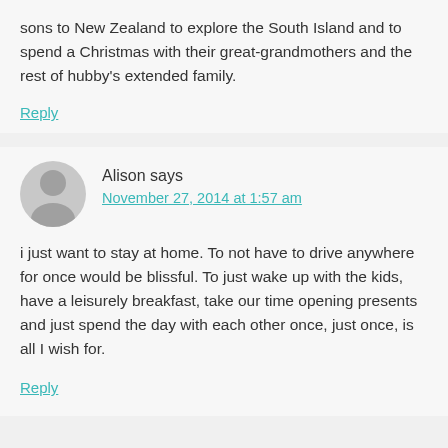sons to New Zealand to explore the South Island and to spend a Christmas with their great-grandmothers and the rest of hubby's extended family.
Reply
Alison says
November 27, 2014 at 1:57 am
i just want to stay at home. To not have to drive anywhere for once would be blissful. To just wake up with the kids, have a leisurely breakfast, take our time opening presents and just spend the day with each other once, just once, is all I wish for.
Reply